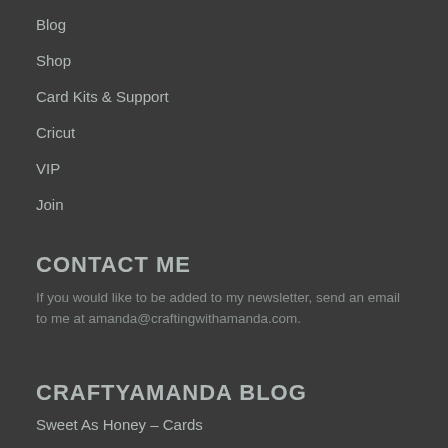Blog
Shop
Card Kits & Support
Cricut
VIP
Join
CONTACT ME
If you would like to be added to my newsletter, send an email to me at amanda@craftingwithamanda.com.
CRAFTYAMANDA BLOG
Sweet As Honey – Cards
Bendi Fun Fold Cards